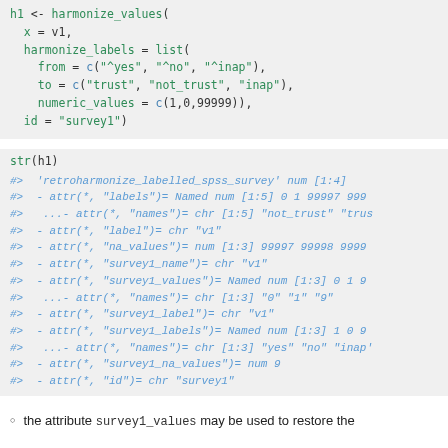h1 <- harmonize_values(
  x = v1,
  harmonize_labels = list(
    from = c("^yes", "^no", "^inap"),
    to = c("trust", "not_trust", "inap"),
    numeric_values = c(1,0,99999)),
  id = "survey1")
str(h1)
#>  'retroharmonize_labelled_spss_survey' num [1:4]
#>  - attr(*, "labels")= Named num [1:5] 0 1 99997 999...
#>   ...- attr(*, "names")= chr [1:5] "not_trust" "trus...
#>  - attr(*, "label")= chr "v1"
#>  - attr(*, "na_values")= num [1:3] 99997 99998 9999...
#>  - attr(*, "survey1_name")= chr "v1"
#>  - attr(*, "survey1_values")= Named num [1:3] 0 1 9...
#>   ...- attr(*, "names")= chr [1:3] "0" "1" "9"
#>  - attr(*, "survey1_label")= chr "v1"
#>  - attr(*, "survey1_labels")= Named num [1:3] 1 0 9...
#>   ...- attr(*, "names")= chr [1:3] "yes" "no" "inap'...
#>  - attr(*, "survey1_na_values")= num 9
#>  - attr(*, "id")= chr "survey1"
the attribute survey1_values may be used to restore the